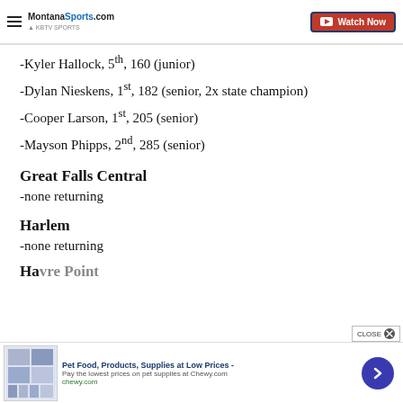MontanaSports.com | Watch Now
-Kyler Hallock, 5th, 160 (junior)
-Dylan Nieskens, 1st, 182 (senior, 2x state champion)
-Cooper Larson, 1st, 205 (senior)
-Mayson Phipps, 2nd, 285 (senior)
Great Falls Central
-none returning
Harlem
-none returning
Havre Point (partial)